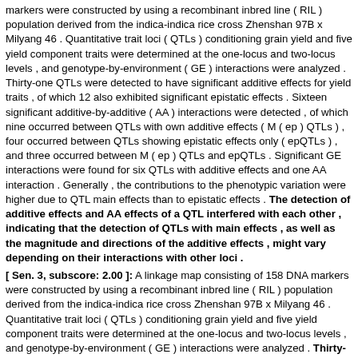markers were constructed by using a recombinant inbred line ( RIL ) population derived from the indica-indica rice cross Zhenshan 97B x Milyang 46 . Quantitative trait loci ( QTLs ) conditioning grain yield and five yield component traits were determined at the one-locus and two-locus levels , and genotype-by-environment ( GE ) interactions were analyzed . Thirty-one QTLs were detected to have significant additive effects for yield traits , of which 12 also exhibited significant epistatic effects . Sixteen significant additive-by-additive ( AA ) interactions were detected , of which nine occurred between QTLs with own additive effects ( M ( ep ) QTLs ) , four occurred between QTLs showing epistatic effects only ( epQTLs ) , and three occurred between M ( ep ) QTLs and epQTLs . Significant GE interactions were found for six QTLs with additive effects and one AA interaction . Generally , the contributions to the phenotypic variation were higher due to QTL main effects than to epistatic effects . The detection of additive effects and AA effects of a QTL interfered with each other , indicating that the detection of QTLs with main effects , as well as the magnitude and directions of the additive effects , might vary depending on their interactions with other loci .
[ Sen. 3, subscore: 2.00 ]: A linkage map consisting of 158 DNA markers were constructed by using a recombinant inbred line ( RIL ) population derived from the indica-indica rice cross Zhenshan 97B x Milyang 46 . Quantitative trait loci ( QTLs ) conditioning grain yield and five yield component traits were determined at the one-locus and two-locus levels , and genotype-by-environment ( GE ) interactions were analyzed . Thirty-one QTLs were detected to have significant additive effects for yield traits , of which 12 also exhibited significant epistatic effects . Sixteen significant additive-by-additive ( AA ) interactions were detected , of which nine occurred between QTLs with own additive effects ( M ( ep ) QTLs ) , four occurred between QTLs showing epistatic effects only ( epQTLs ) , and three occurred between M ( ep ) QTLs